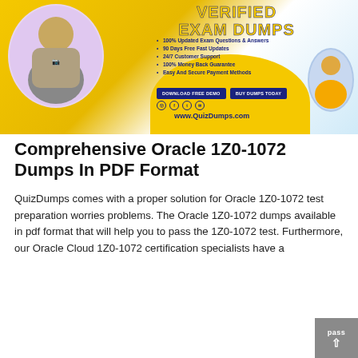[Figure (infographic): QuizDumps promotional banner with text 'VERIFIED EXAM DUMPS', bullet points listing features, download/buy buttons, social icons, website URL www.QuizDumps.com, and two circular photos of people]
Comprehensive Oracle 1Z0-1072 Dumps In PDF Format
QuizDumps comes with a proper solution for Oracle 1Z0-1072 test preparation worries problems. The Oracle 1Z0-1072 dumps available in pdf format that will help you to pass the 1Z0-1072 test. Furthermore, our Oracle Cloud 1Z0-1072 certification specialists have a